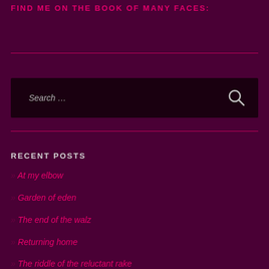FIND ME ON THE BOOK OF MANY FACES:
RECENT POSTS
» At my elbow
» Garden of eden
» The end of the walz
» Returning home
» The riddle of the reluctant rake